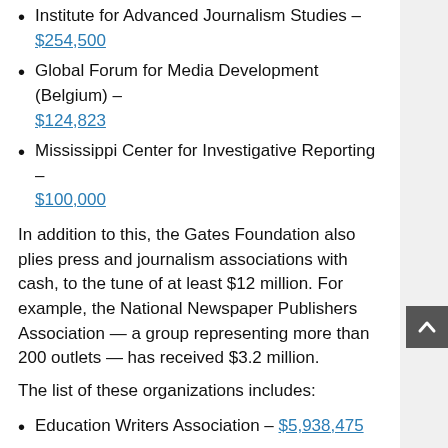Institute for Advanced Journalism Studies – $254,500
Global Forum for Media Development (Belgium) – $124,823
Mississippi Center for Investigative Reporting – $100,000
In addition to this, the Gates Foundation also plies press and journalism associations with cash, to the tune of at least $12 million. For example, the National Newspaper Publishers Association — a group representing more than 200 outlets — has received $3.2 million.
The list of these organizations includes:
Education Writers Association – $5,938,475
National Newspaper Publishers Association – $3,249,176
National Press Foundation – $1,816,172